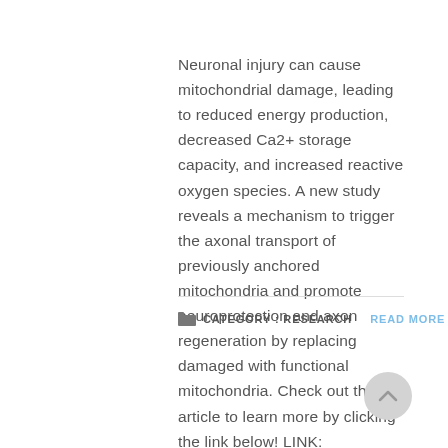Neuronal injury can cause mitochondrial damage, leading to reduced energy production, decreased Ca2+ storage capacity, and increased reactive oxygen species. A new study reveals a mechanism to trigger the axonal transport of previously anchored mitochondria and promote neuroprotection and axon regeneration by replacing damaged with functional mitochondria. Check out the full article to learn more by clicking the link below! LINK: Neurobiology: Resetting the axon's batteries…
CATEGORY : RESEARCH   READ MORE